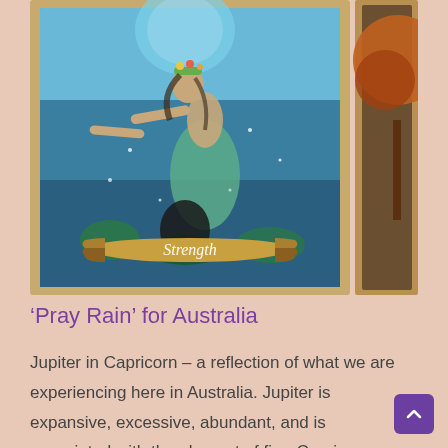[Figure (illustration): A tarot-style card showing a fairy-like woman in a blue fantasy scene, wearing a flower crown and teal flowing dress, holding something in her outstretched hand. A scroll banner at the bottom reads 'Strength'. The card has a sandy/torn paper border. To the right, a partial second card is visible showing an autumn tree.]
‘Pray Rain’ for Australia
Jupiter in Capricorn – a reflection of what we are experiencing here in Australia. Jupiter is expansive, excessive, abundant, and is associated with the element of fire. Caprico is associated with the element of earth, it’s